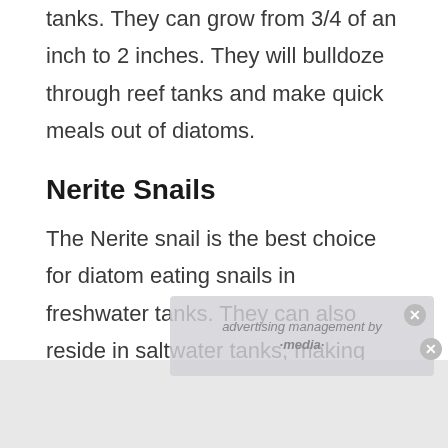tanks. They can grow from 3/4 of an inch to 2 inches. They will bulldoze through reef tanks and make quick meals out of diatoms.
Nerite Snails
The Nerite snail is the best choice for diatom eating snails in freshwater tanks. They can also reside in saltwater tanks, making them versatile and fully capable of munching on various types of micro-algae and diatoms. They thrive on mostly plant matter and algae while leaving other debris to focus